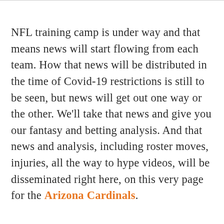NFL training camp is under way and that means news will start flowing from each team. How that news will be distributed in the time of Covid-19 restrictions is still to be seen, but news will get out one way or the other. We'll take that news and give you our fantasy and betting analysis. And that news and analysis, including roster moves, injuries, all the way to hype videos, will be disseminated right here, on this very page for the Arizona Cardinals.